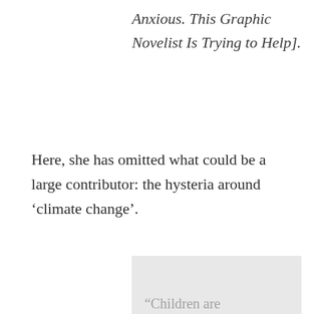Anxious. This Graphic Novelist Is Trying to Help].
Here, she has omitted what could be a large contributor: the hysteria around ‘climate change’.
“Children are